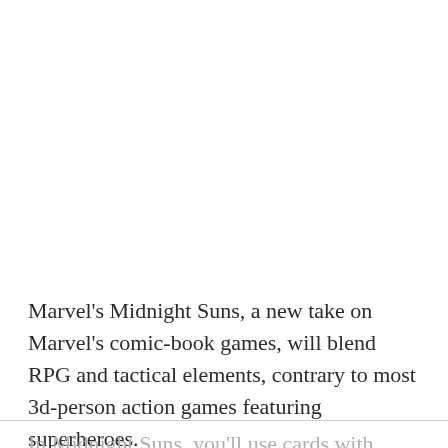Marvel's Midnight Suns, a new take on Marvel's comic-book games, will blend RPG and tactical elements, contrary to most 3d-person action games featuring superheroes.
In Midnight Suns, you'll use cards with character